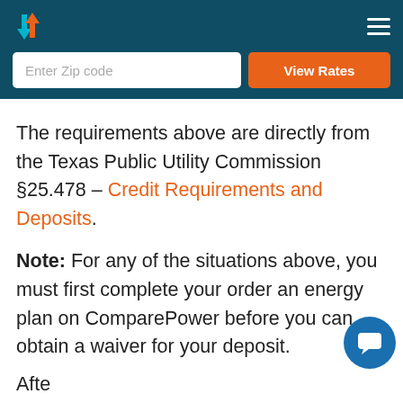[Figure (logo): ComparePower logo with upward red and downward blue arrows, and hamburger menu icon on dark teal header bar]
[Figure (screenshot): Enter Zip code input field and orange View Rates button]
The requirements above are directly from the Texas Public Utility Commission §25.478 – Credit Requirements and Deposits.
Note: For any of the situations above, you must first complete your order an energy plan on ComparePower before you can obtain a waiver for your deposit.
Afte...